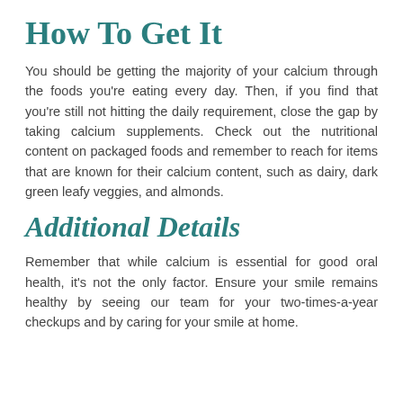How To Get It
You should be getting the majority of your calcium through the foods you're eating every day. Then, if you find that you're still not hitting the daily requirement, close the gap by taking calcium supplements. Check out the nutritional content on packaged foods and remember to reach for items that are known for their calcium content, such as dairy, dark green leafy veggies, and almonds.
Additional Details
Remember that while calcium is essential for good oral health, it's not the only factor. Ensure your smile remains healthy by seeing our team for your two-times-a-year checkups and by caring for your smile at home.